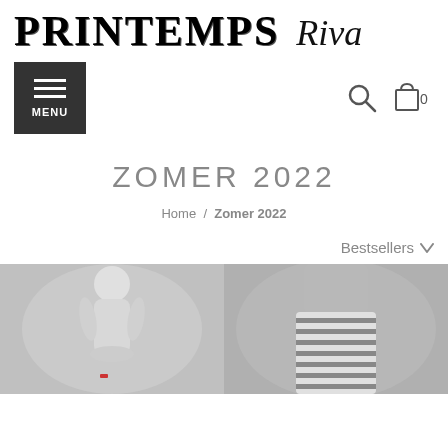PRINTEMPS Riva
[Figure (screenshot): Navigation bar with hamburger MENU button on left, search icon and cart icon with '0' on right]
ZOMER 2022
Home / Zomer 2022
Bestsellers
[Figure (photo): Two product photos side by side: left shows a mannequin torso in white/grey, right shows a striped skirt on a mannequin]